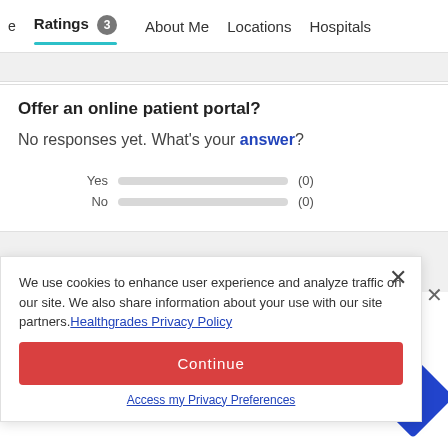Ratings 3   About Me   Locations   Hospitals
Offer an online patient portal?
No responses yet. What's your answer?
Yes (0)
No (0)
We use cookies to enhance user experience and analyze traffic on our site. We also share information about your use with our site partners. Healthgrades Privacy Policy
Continue
Access my Privacy Preferences